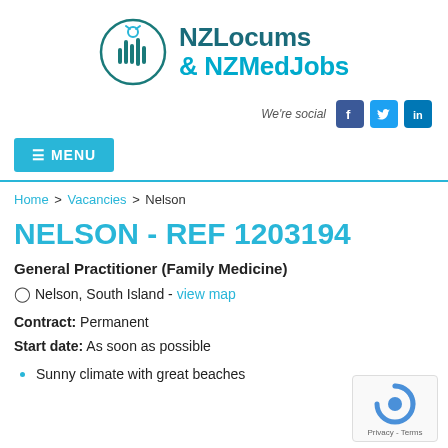[Figure (logo): NZLocums & NZMedJobs logo with circular icon and text]
[Figure (infographic): We're social - Facebook, Twitter, LinkedIn icons]
≡ MENU
Home > Vacancies > Nelson
NELSON - REF 1203194
General Practitioner (Family Medicine)
Nelson, South Island - view map
Contract: Permanent
Start date: As soon as possible
Sunny climate with great beaches